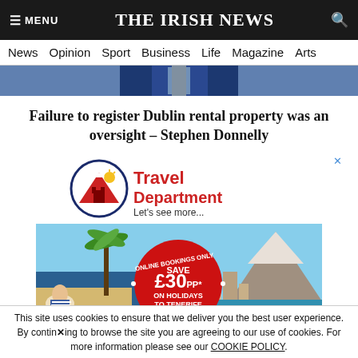≡ MENU  THE IRISH NEWS  🔍
News  Opinion  Sport  Business  Life  Magazine  Arts
[Figure (photo): Partial view of a person in a blue suit and tie, cropped to torso]
Failure to register Dublin rental property was an oversight – Stephen Donnelly
[Figure (logo): Travel Department logo with circular mountain/sun graphic and text 'Travel Department – Let's see more...']
[Figure (photo): Advertisement banner for Travel Department showing Tenerife holiday scene with palm trees, beach, and cityscape. Circular red badge overlay reads 'ONLINE BOOKINGS ONLY – SAVE £30PP* ON HOLIDAYS TO TENERIFE – VALID ... 2022']
This site uses cookies to ensure that we deliver you the best user experience. By continuing to browse the site you are agreeing to our use of cookies. For more information please see our COOKIE POLICY.